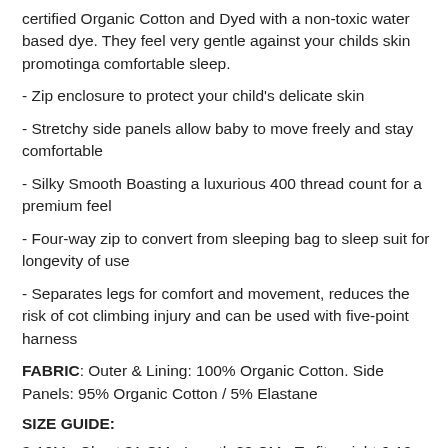certified Organic Cotton and Dyed with a non-toxic water based dye. They feel very gentle against your childs skin promotinga comfortable sleep.
- Zip enclosure to protect your child's delicate skin
- Stretchy side panels allow baby to move freely and stay comfortable
- Silky Smooth Boasting a luxurious 400 thread count for a premium feel
- Four-way zip to convert from sleeping bag to sleep suit for longevity of use
- Separates legs for comfort and movement, reduces the risk of cot climbing injury and can be used with five-point harness
FABRIC: Outer & Lining: 100% Organic Cotton. Side Panels: 95% Organic Cotton / 5% Elastane
SIZE GUIDE:
3-12M - Chest 31 CM - Length 80 CM - To fit weight 6-12 KG- To fit height 62-76 CM - To fit size 000-1